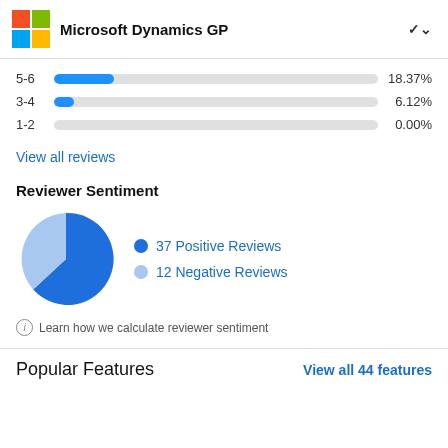Microsoft Dynamics GP
[Figure (bar-chart): Rating distribution]
View all reviews
Reviewer Sentiment
[Figure (pie-chart): Reviewer Sentiment]
Learn how we calculate reviewer sentiment
Popular Features
View all 44 features